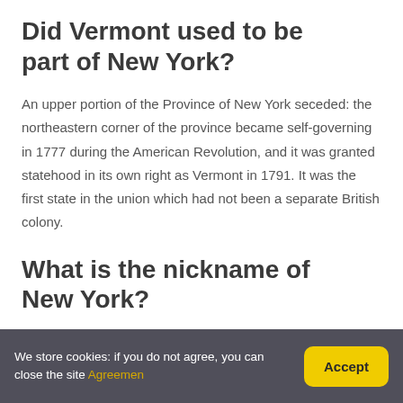Did Vermont used to be part of New York?
An upper portion of the Province of New York seceded: the northeastern corner of the province became self-governing in 1777 during the American Revolution, and it was granted statehood in its own right as Vermont in 1791. It was the first state in the union which had not been a separate British colony.
What is the nickname of New York?
In the United States, the youngest state is Utah,
We store cookies: if you do not agree, you can close the site Agreement